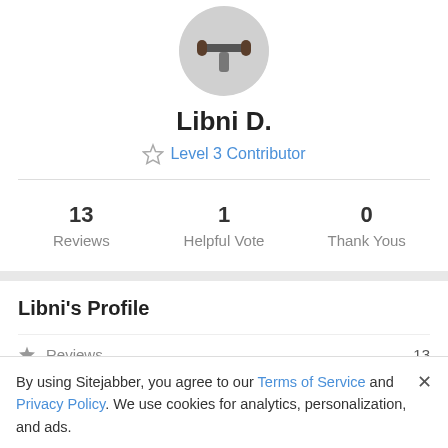[Figure (photo): Circular avatar photo of user Libni D., partially cropped at top]
Libni D.
Level 3 Contributor
13 Reviews  1 Helpful Vote  0 Thank Yous
Libni's Profile
Reviews  13
By using Sitejabber, you agree to our Terms of Service and Privacy Policy. We use cookies for analytics, personalization, and ads.